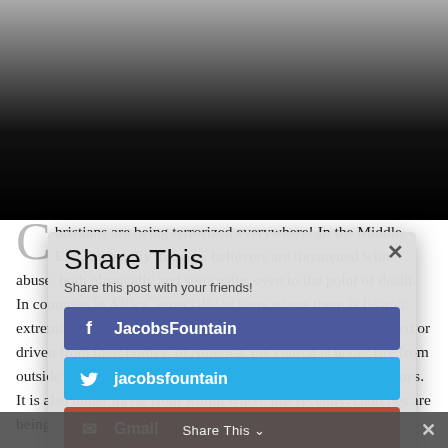[Figure (photo): Black and white grayscale image fading to black at the top of the page]
Christians are being terrorized everywhere! In the Middle East, especially in Syria, believers are threatened with abuse, both physically and spiritually, even to the point of death. In countries in Africa, especially in parts where there is Islamic extremism, Christ's followers are being beaten, churches burned or driven from their homes. In America, the church is under fire from outside forces challenging traditional and I dare say moral values. It is also under threat from within where just recently, churches are being divided on their
Share This
Share this post with your friends!
JacobsFountain (Facebook)
jacobsfountain (Twitter)
Gmail
Print Friendly
Like
Share This